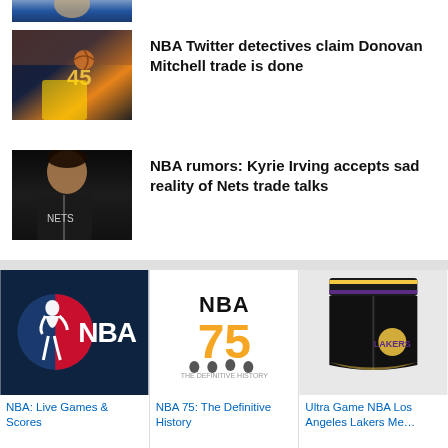[Figure (photo): Partial photo of a basketball player at the top of the page, cropped]
[Figure (photo): Basketball player Donovan Mitchell (#45) in Utah Jazz uniform holding a ball]
NBA Twitter detectives claim Donovan Mitchell trade is done
[Figure (photo): Basketball player Kyrie Irving in Brooklyn Nets uniform, side profile]
NBA rumors: Kyrie Irving accepts sad reality of Nets trade talks
[Figure (logo): NBA logo on dark blue background]
NBA: Live Games & Scores
[Figure (photo): NBA 75: The Definitive History book cover]
NBA 75: The Definitive History
[Figure (photo): Ultra Game NBA Los Angeles Lakers shorts product image]
Ultra Game NBA Los Angeles Lakers Me…